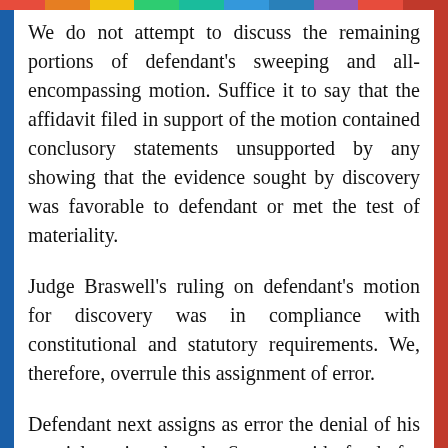We do not attempt to discuss the remaining portions of defendant's sweeping and all-encompassing motion. Suffice it to say that the affidavit filed in support of the motion contained conclusory statements unsupported by any showing that the evidence sought by discovery was favorable to defendant or met the test of materiality.
Judge Braswell's ruling on defendant's motion for discovery was in compliance with constitutional and statutory requirements. We, therefore, overrule this assignment of error.
Defendant next assigns as error the denial of his pretrial motion that the State provide funds for the employment of a private investigator.
The narrow question presented by this assignment of error has not been decided by this Court. We, therefore, turn to other jurisdictions